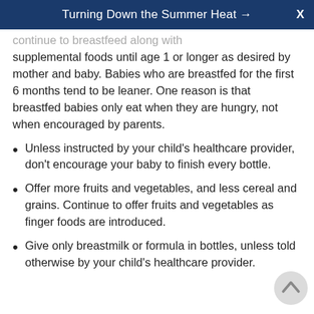Turning Down the Summer Heat →  X
continue to breastfeed along with supplemental foods until age 1 or longer as desired by mother and baby. Babies who are breastfed for the first 6 months tend to be leaner. One reason is that breastfed babies only eat when they are hungry, not when encouraged by parents.
Unless instructed by your child's healthcare provider, don't encourage your baby to finish every bottle.
Offer more fruits and vegetables, and less cereal and grains. Continue to offer fruits and vegetables as finger foods are introduced.
Give only breastmilk or formula in bottles, unless told otherwise by your child's healthcare provider.